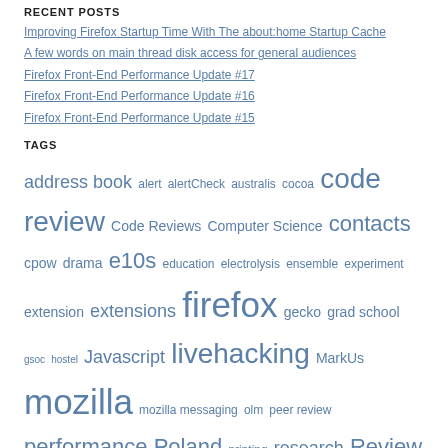RECENT POSTS
Improving Firefox Startup Time With The about:home Startup Cache
A few words on main thread disk access for general audiences
Firefox Front-End Performance Update #17
Firefox Front-End Performance Update #16
Firefox Front-End Performance Update #15
TAGS
address book alert alertCheck australis cocoa code review Code Reviews Computer Science contacts cpow drama e10s education electrolysis ensemble experiment extension extensions firefox gecko grad school gsoc hostel Javascript livehacking MarkUs mozilla mozilla messaging olm peer review performance Poland printing research Review Board reviewboard Security statistics Theater thunderbird ubuntu UCDP uoft